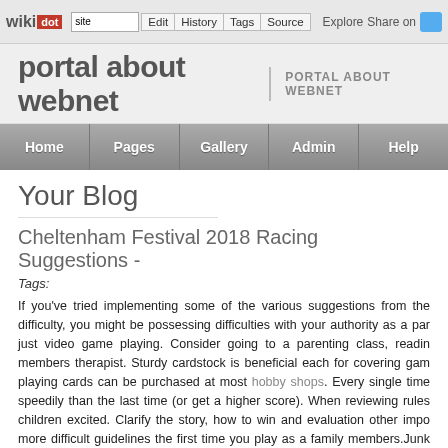wikidot | site Edit History Tags Source Explore Share on [Twitter]
portal about webnet | PORTAL ABOUT WEBNET
Home | Pages | Gallery | Admin | Help
Your Blog
Cheltenham Festival 2018 Racing Suggestions -
Tags:
If you've tried implementing some of the various suggestions from the difficulty, you might be possessing difficulties with your authority as a par just video game playing. Consider going to a parenting class, readin members therapist. Sturdy cardstock is beneficial each for covering gam playing cards can be purchased at most hobby shops. Every single time speedily than the last time (or get a higher score). When reviewing rules children excited. Clarify the story, how to win and evaluation other impo more difficult guidelines the first time you play as a family members.Junk will want to be much more many the far more suits you have in your deal sage advice I can supply none a lot more important than to manage your or two working piles so you do not get entirely stuck.There is been a lot